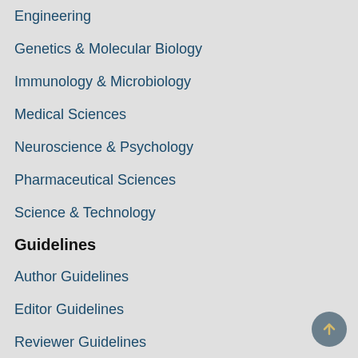Engineering
Genetics & Molecular Biology
Immunology & Microbiology
Medical Sciences
Neuroscience & Psychology
Pharmaceutical Sciences
Science & Technology
Guidelines
Author Guidelines
Editor Guidelines
Reviewer Guidelines
About Hilaris